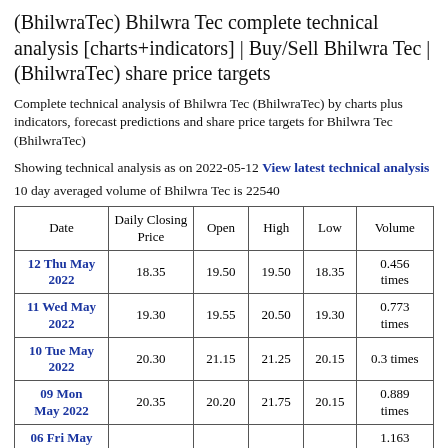(BhilwraTec) Bhilwra Tec complete technical analysis [charts+indicators] | Buy/Sell Bhilwra Tec | (BhilwraTec) share price targets
Complete technical analysis of Bhilwra Tec (BhilwraTec) by charts plus indicators, forecast predictions and share price targets for Bhilwra Tec (BhilwraTec)
Showing technical analysis as on 2022-05-12 View latest technical analysis
10 day averaged volume of Bhilwra Tec is 22540
| Date | Daily Closing Price | Open | High | Low | Volume |
| --- | --- | --- | --- | --- | --- |
| 12 Thu May 2022 | 18.35 | 19.50 | 19.50 | 18.35 | 0.456 times |
| 11 Wed May 2022 | 19.30 | 19.55 | 20.50 | 19.30 | 0.773 times |
| 10 Tue May 2022 | 20.30 | 21.15 | 21.25 | 20.15 | 0.3 times |
| 09 Mon May 2022 | 20.35 | 20.20 | 21.75 | 20.15 | 0.889 times |
| 06 Fri May | ... | ... | ... | ... | 1.163 |